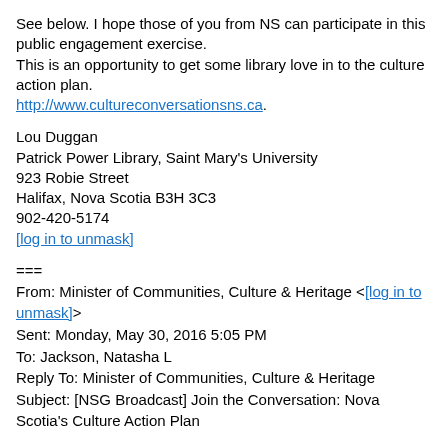See below. I hope those of you from NS can participate in this public engagement exercise.
This is an opportunity to get some library love in to the culture action plan.
http://www.cultureconversationsns.ca.
Lou Duggan
Patrick Power Library, Saint Mary's University
923 Robie Street
Halifax, Nova Scotia B3H 3C3
902-420-5174
[log in to unmask]
===
From: Minister of Communities, Culture & Heritage <[log in to unmask]>
Sent: Monday, May 30, 2016 5:05 PM
To: Jackson, Natasha L
Reply To: Minister of Communities, Culture & Heritage
Subject: [NSG Broadcast] Join the Conversation: Nova Scotia's Culture Action Plan
Nova Scotia has just launched the public engagement phase of the province's Culture Action Plan through the ongoing Culture Conversations project.
We have created an online portal with a brief survey to gather